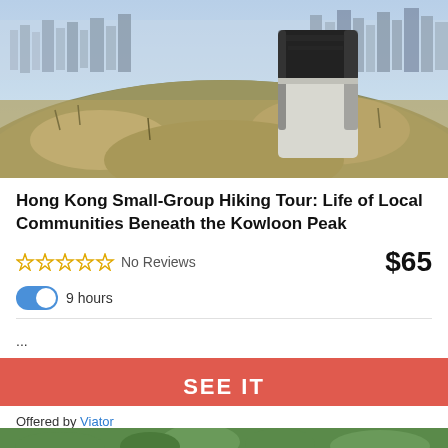[Figure (photo): Outdoor hiking photo showing a cylindrical trig marker on a grassy hillside with Hong Kong cityscape and high-rise buildings visible in the background under a hazy blue sky.]
Hong Kong Small-Group Hiking Tour: Life of Local Communities Beneath the Kowloon Peak
No Reviews · $65 · 9 hours
...
SEE IT
Offered by Viator
[Figure (photo): Partial photo at bottom of page showing green tree canopy and what appears to be an outdoor structure, partially cut off.]